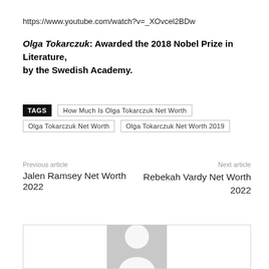https://www.youtube.com/watch?v=_XOvcel2BDw
Olga Tokarczuk: Awarded the 2018 Nobel Prize in Literature, by the Swedish Academy.
TAGS | How Much Is Olga Tokarczuk Net Worth | Olga Tokarczuk Net Worth | Olga Tokarczuk Net Worth 2019
Previous article: Jalen Ramsey Net Worth 2022
Next article: Rebekah Vardy Net Worth 2022
[Figure (photo): Generic user avatar/profile placeholder image — grey silhouette of a person on a grey background]